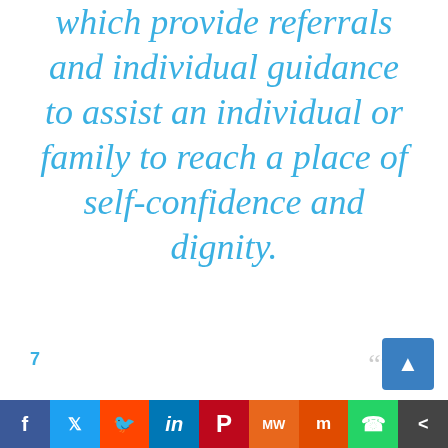which provide referrals and individual guidance to assist an individual or family to reach a place of self-confidence and dignity.
Social share bar with: Facebook, Twitter, Reddit, LinkedIn, Pinterest, MeWe, Mix, WhatsApp, Share